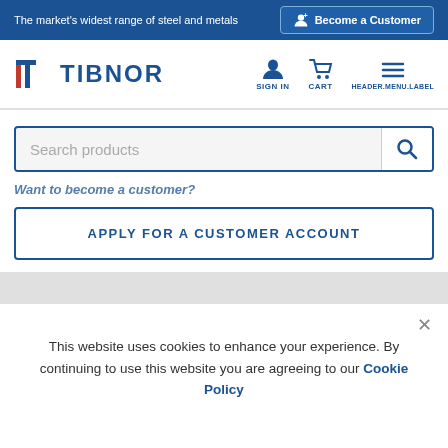The market's widest range of steel and metals | Become a Customer
[Figure (screenshot): Tibnor website header with logo, Sign In, Cart, and Header.Menu.Label navigation icons]
Search products
Want to become a customer?
APPLY FOR A CUSTOMER ACCOUNT
This website uses cookies to enhance your experience. By continuing to use this website you are agreeing to our Cookie Policy